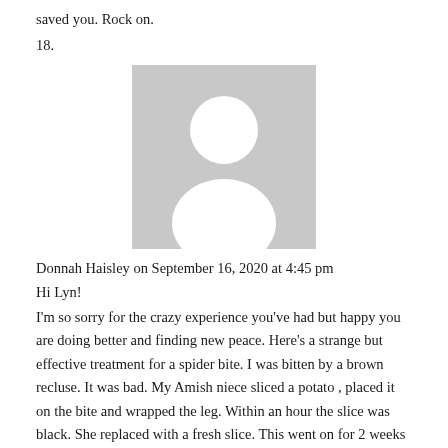saved you. Rock on.
18.
[Figure (illustration): Gray placeholder avatar icon showing a silhouette of a person (head and shoulders) on a gray background rectangle]
Donnah Haisley on September 16, 2020 at 4:45 pm
Hi Lyn!
I'm so sorry for the crazy experience you've had but happy you are doing better and finding new peace. Here's a strange but effective treatment for a spider bite. I was bitten by a brown recluse. It was bad. My Amish niece sliced a potato , placed it on the bite and wrapped the leg. Within an hour the slice was black. She replaced with a fresh slice. This went on for 2 weeks as the replacement times spread further apart. Eventually the slice no